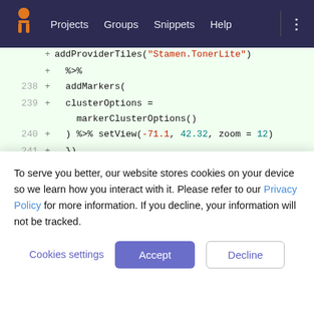Projects  Groups  Snippets  Help
[Figure (screenshot): Code diff view showing lines 238-246 of an R script with green highlighted additions including addMarkers(), clusterOptions, setView with coordinates -71.1 and 42.32 and zoom=12, closing braces, shinyApp(ui, server), runApp('7. Advance.R'), and a comment about importing packages.]
To serve you better, our website stores cookies on your device so we learn how you interact with it. Please refer to our Privacy Policy for more information. If you decline, your information will not be tracked.
Cookies settings
Accept
Decline